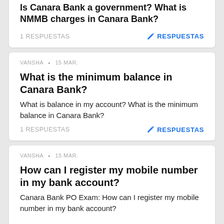Is Canara Bank a government? What is NMMB charges in Canara Bank?
1 RESPUESTAS
RESPUESTAS
VANSHA • 15 MAR.
What is the minimum balance in Canara Bank?
What is balance in my account? What is the minimum balance in Canara Bank?
1 RESPUESTAS
RESPUESTAS
VANSHA • 15 MAR.
How can I register my mobile number in my bank account?
Canara Bank PO Exam: How can I register my mobile number in my bank account?